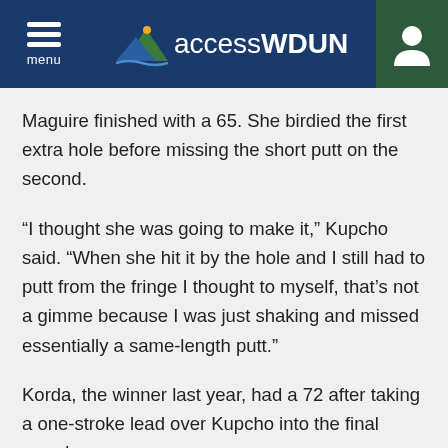menu | accessWDUN
Maguire finished with a 65. She birdied the first extra hole before missing the short putt on the second.
“I thought she was going to make it,” Kupcho said. “When she hit it by the hole and I still had to putt from the fringe I thought to myself, that’s not a gimme because I was just shaking and missed essentially a same-length putt.”
Korda, the winner last year, had a 72 after taking a one-stroke lead over Kupcho into the final round.